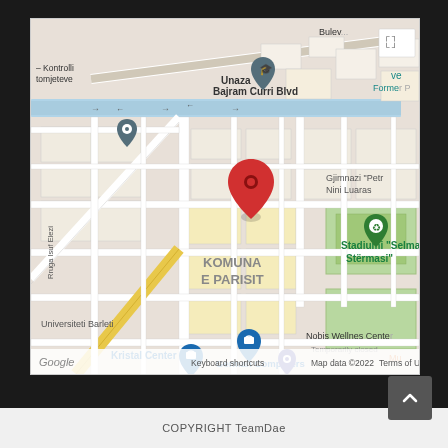[Figure (map): Google Maps screenshot showing an area in Tirana, Albania. Visible labels include: Unaza Bajram Curri Blvd, Bulevardi (partially visible), Kontrolli Kомjeteve, Rruga Isuf Elezi, Stadiumi 'Selman Stermasi', Gjimnazi 'Petr Nini Luaras', KOMUNA E PARISIT, Universiteti Barleti, Kristal Center, Nobis Wellnes Center (Temporarily closed), German Computers, and a red location pin marker. Bottom bar shows: Keyboard shortcuts, Map data ©2022, Terms of Use. Google logo visible bottom left.]
COPYRIGHT TeamDae